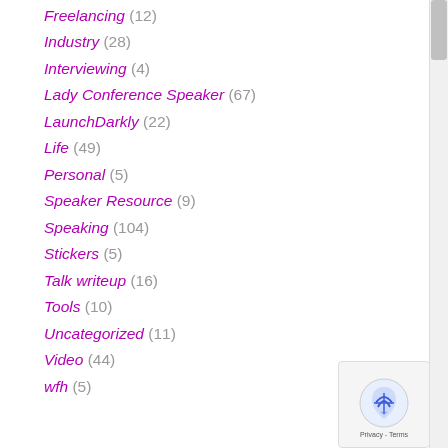Freelancing (12)
Industry (28)
Interviewing (4)
Lady Conference Speaker (67)
LaunchDarkly (22)
Life (49)
Personal (5)
Speaker Resource (9)
Speaking (104)
Stickers (5)
Talk writeup (16)
Tools (10)
Uncategorized (11)
Video (44)
wfh (5)